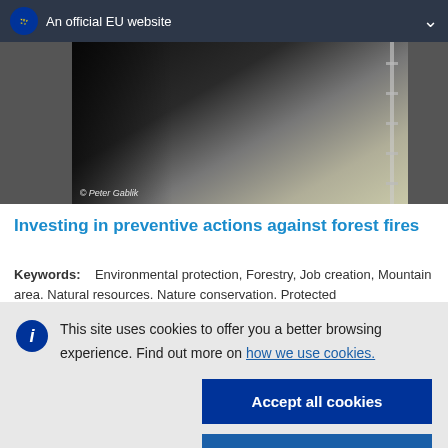An official EU website
[Figure (photo): Partial view of a road or highway with guardrail and gravel, dark foreground, with photo credit '© Peter Gablik']
© Peter Gablik
Investing in preventive actions against forest fires
Keywords:    Environmental protection, Forestry, Job creation, Mountain area. Natural resources. Nature conservation. Protected
This site uses cookies to offer you a better browsing experience. Find out more on how we use cookies.
Accept all cookies
Accept only essential cookies